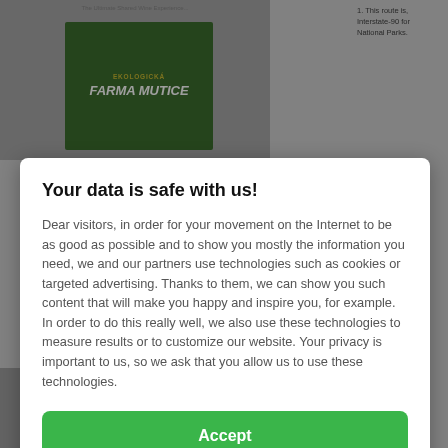[Figure (screenshot): Background webpage content partially visible behind modal overlay, including a book cover for 'Ekologicka Farma Mutice' on the left and partial text content on the right]
Your data is safe with us!
Dear visitors, in order for your movement on the Internet to be as good as possible and to show you mostly the information you need, we and our partners use technologies such as cookies or targeted advertising. Thanks to them, we can show you such content that will make you happy and inspire you, for example. In order to do this really well, we also use these technologies to measure results or to customize our website. Your privacy is important to us, so we ask that you allow us to use these technologies.
Accept
Deny
Set